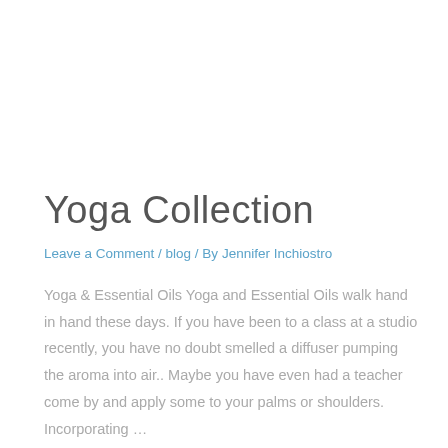Yoga Collection
Leave a Comment / blog / By Jennifer Inchiostro
Yoga & Essential Oils Yoga and Essential Oils walk hand in hand these days. If you have been to a class at a studio recently, you have no doubt smelled a diffuser pumping the aroma into air.. Maybe you have even had a teacher come by and apply some to your palms or shoulders. Incorporating …
Read More »